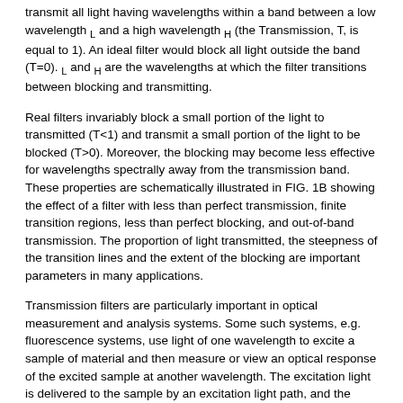transmit all light having wavelengths within a band between a low wavelength L and a high wavelength H (the Transmission, T, is equal to 1). An ideal filter would block all light outside the band (T=0). L and H are the wavelengths at which the filter transitions between blocking and transmitting.
Real filters invariably block a small portion of the light to transmitted (T<1) and transmit a small portion of the light to be blocked (T>0). Moreover, the blocking may become less effective for wavelengths spectrally away from the transmission band. These properties are schematically illustrated in FIG. 1B showing the effect of a filter with less than perfect transmission, finite transition regions, less than perfect blocking, and out-of-band transmission. The proportion of light transmitted, the steepness of the transition lines and the extent of the blocking are important parameters in many applications.
Transmission filters are particularly important in optical measurement and analysis systems. Some such systems, e.g. fluorescence systems, use light of one wavelength to excite a sample of material and then measure or view an optical response of the excited sample at another wavelength. The excitation light is delivered to the sample by an excitation light path, and the optical response of the sample is delivered to the eye or measuring instrument by a collection path. Transmission filters between the source and the sample can be used to block spurious light from the excitation path. The